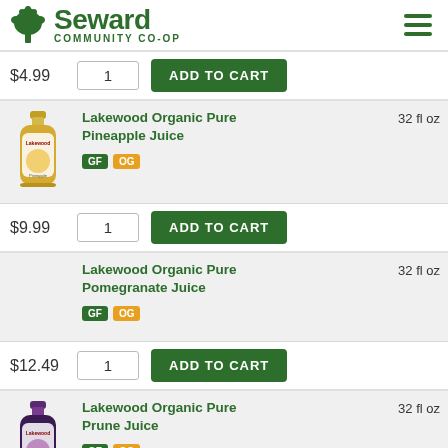Seward Community Co-op
$4.99  1  ADD TO CART
Lakewood Organic Pure Pineapple Juice  32 fl oz  GF  OG
$9.99  1  ADD TO CART
Lakewood Organic Pure Pomegranate Juice  32 fl oz  GF  OG
$12.49  1  ADD TO CART
Lakewood Organic Pure Prune Juice  32 fl oz  GF  OG